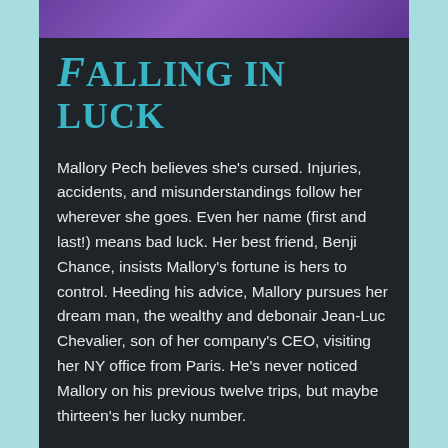[Figure (illustration): Purple/violet decorative image strip at top of card]
Falling in Luck
Mallory Pech believes she's cursed. Injuries, accidents, and misunderstandings follow her wherever she goes. Even her name (first and last!) means bad luck. Her best friend, Benji Chance, insists Mallory's fortune is hers to control. Heeding his advice, Mallory pursues her dream man, the wealthy and debonair Jean-Luc Chevalier, son of her company's CEO, visiting her NY office from Paris. He's never noticed Mallory on his previous twelve trips, but maybe thirteen's her lucky number.
But everything goes awry from the start. Mallory's attempts to charm and allure Jean-Luc end in twisted ankles, house fires, and misspelled tattoos. Yet somehow, she draws Jean-Luc closer. When one mishap after another leads to a marriage proposal,